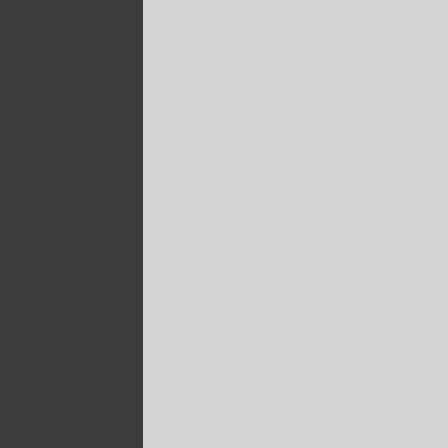[Figure (line-chart): Index Chart (partial)]
MACRO News Items -
GLOBAL MACRO REPORT
US ECONOMIC REPORTS -
US EXPORTS PLUNGE -
October US Exports Plunge